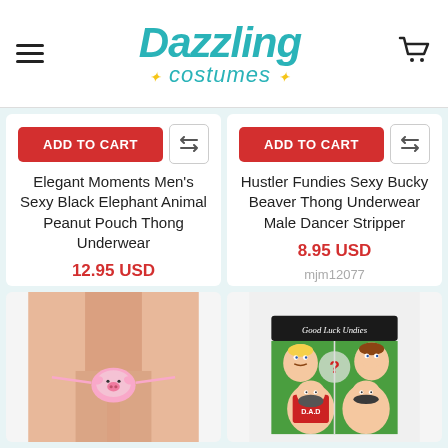Dazzling Costumes
ADD TO CART
Elegant Moments Men's Sexy Black Elephant Animal Peanut Pouch Thong Underwear
12.95 USD
em3752bk
ADD TO CART
Hustler Fundies Sexy Bucky Beaver Thong Underwear Male Dancer Stripper
8.95 USD
mjm12077
[Figure (photo): Man wearing pink pig-themed thong underwear, shown from waist down]
[Figure (photo): Novelty boxer briefs with cartoon characters and 'Good Luck Undies' waistband]